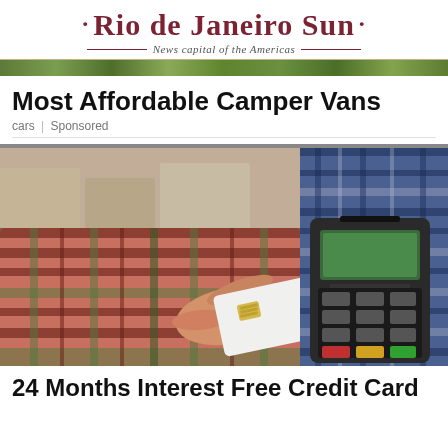Rio de Janeiro Sun — News capital of the Americas
Most Affordable Camper Vans
cars | Sponsored
[Figure (photo): A person in a plaid/flannel shirt extending their arm to hand a white credit card to another person in a blue plaid shirt who is holding a card payment terminal, with a blurred warehouse/storage background.]
24 Months Interest Free Credit Card